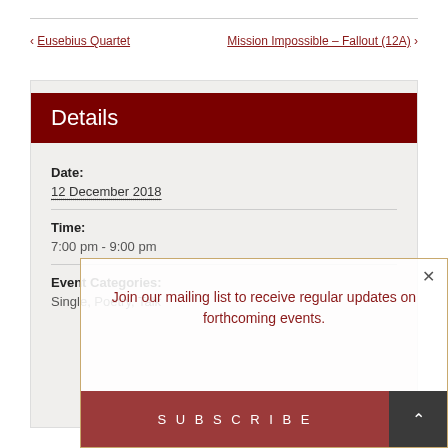< Eusebius Quartet
Mission Impossible – Fallout (12A) >
Details
Date:
12 December 2018
Time:
7:00 pm - 9:00 pm
Event Categories:
Single, Poetry, Talk
Join our mailing list to receive regular updates on forthcoming events.
SUBSCRIBE